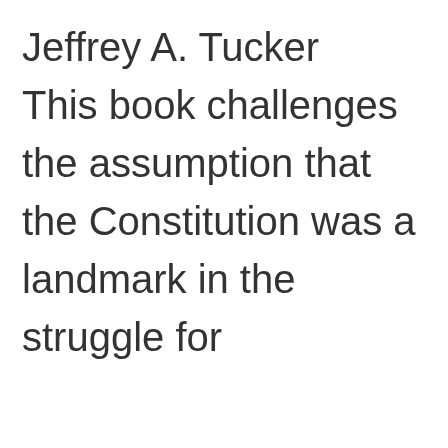Jeffrey A. Tucker This book challenges the assumption that the Constitution was a landmark in the struggle for